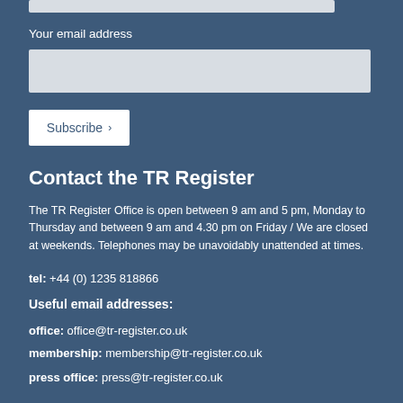Your email address
Subscribe
Contact the TR Register
The TR Register Office is open between 9 am and 5 pm, Monday to Thursday and between 9 am and 4.30 pm on Friday / We are closed at weekends. Telephones may be unavoidably unattended at times.
tel:  +44 (0) 1235 818866
Useful email addresses:
office:  office@tr-register.co.uk
membership:  membership@tr-register.co.uk
press office:  press@tr-register.co.uk